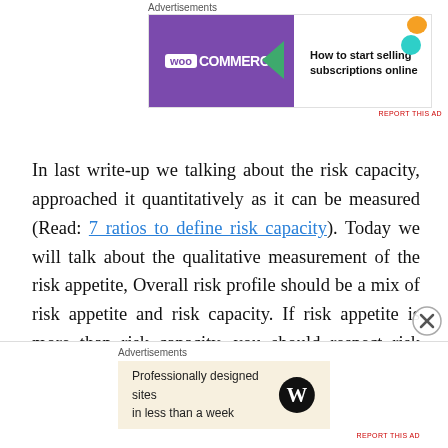[Figure (other): WooCommerce advertisement banner - purple left side with WooCommerce logo, right side white with text 'How to start selling subscriptions online']
In last write-up we talking about the risk capacity, approached it quantitatively as it can be measured (Read: 7 ratios to define risk capacity). Today we will talk about the qualitative measurement of the risk appetite, Overall risk profile should be a mix of risk appetite and risk capacity. If risk appetite is more than risk capacity, you should respect risk capacity and in vice versa, you should try to increase your risk appetite but acquiring new skills and making some changes in your plan. As risk appetite is qualitative measure, let's
[Figure (other): WordPress advertisement banner - beige background with text 'Professionally designed sites in less than a week' and WordPress logo]